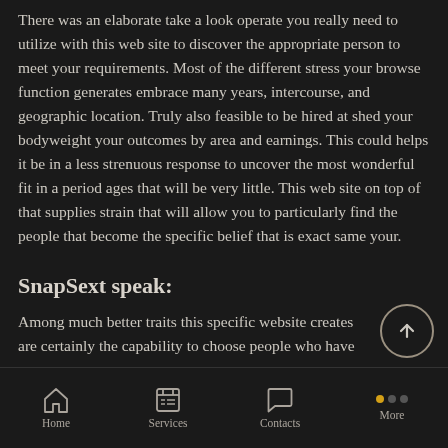There was an elaborate take a look operate you really need to utilize with this web site to discover the appropriate person to meet your requirements. Most of the different stress your browse function generates embrace many years, intercourse, and geographic location. Truly also feasible to be hired at shed your bodyweight your outcomes by area and earnings. This could helps it be in a less strenuous response to uncover the most wonderful fit in a period ages that will be very little. This web site on top of that supplies strain that will allow you to particularly find the people that become the specific belief that is exact same your.
SnapSext speak:
Among much better traits this specific website creates are certainly the capability to choose people who have seen you